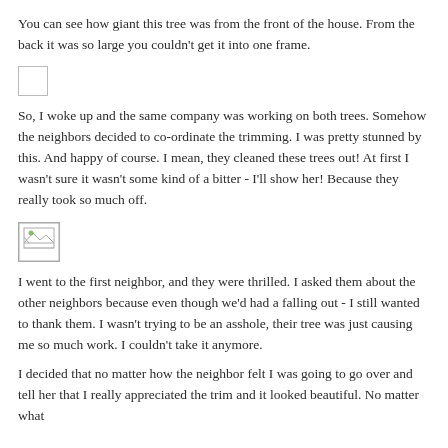You can see how giant this tree was from the front of the house. From the back it was so large you couldn't get it into one frame.
[Figure (photo): Empty image placeholder (broken/missing image)]
So, I woke up and the same company was working on both trees. Somehow the neighbors decided to co-ordinate the trimming. I was pretty stunned by this. And happy of course. I mean, they cleaned these trees out! At first I wasn't sure it wasn't some kind of a bitter - I'll show her! Because they really took so much off.
[Figure (photo): Small image placeholder with broken image icon]
I went to the first neighbor, and they were thrilled. I asked them about the other neighbors because even though we'd had a falling out - I still wanted to thank them. I wasn't trying to be an asshole, their tree was just causing me so much work. I couldn't take it anymore.
I decided that no matter how the neighbor felt I was going to go over and tell her that I really appreciated the trim and it looked beautiful. No matter what